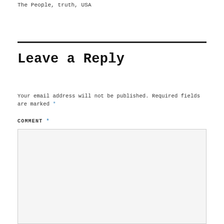The People, truth, USA
Leave a Reply
Your email address will not be published. Required fields are marked *
COMMENT *